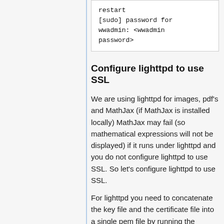[Figure (screenshot): Code block showing terminal output: restart
[sudo] password for wwadmin: <wwadmin password>]
Configure lighttpd to use SSL
We are using lighttpd for images, pdf's and MathJax (if MathJax is installed locally) MathJax may fail (so mathematical expressions will not be displayed) if it runs under lighttpd and you do not configure lighttpd to use SSL. So let's configure lighttpd to use SSL.
For lighttpd you need to concatenate the key file and the certificate file into a single pem file by running the following command. Obviously you should use the real name of your certificate and key files, not "apache.key" and "apache.crt".